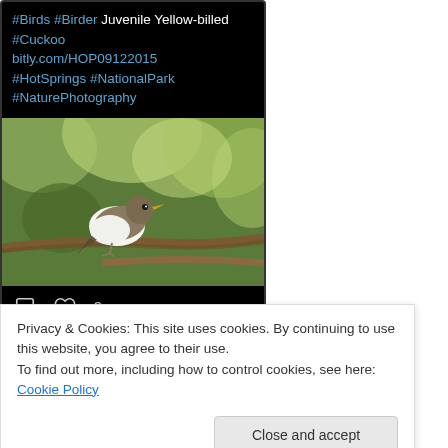[Figure (screenshot): Social media post on dark background showing hashtags: #Birds #Birder Juvenile Yellow-billed #Cuckoo bitly.com/HOP09122015 #HotSprings #NationalPark #NaturePhotography, with a photo of a bird (Yellow-billed Cuckoo) perched on a branch, and like/comment icons with count 3]
Privacy & Cookies: This site uses cookies. By continuing to use this website, you agree to their use.
To find out more, including how to control cookies, see here: Cookie Policy
Close and accept
@LeeFillerLondon #quote